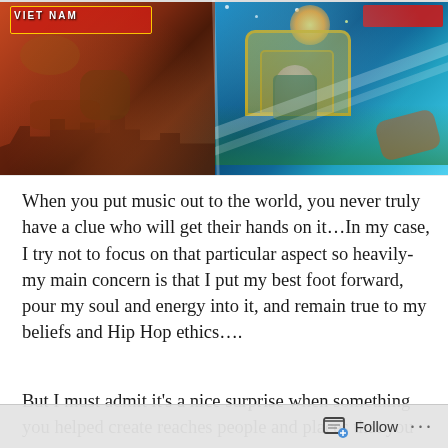[Figure (photo): Two colorful illustrated/painted album covers or murals side by side. Left panel has warm red/orange tones with text reading 'VIET NAM'. Right panel has vibrant blue/green/gold tones with detailed figurative art including a person in military uniform and ornate golden archway.]
When you put music out to the world, you never truly have a clue who will get their hands on it…In my case, I try not to focus on that particular aspect so heavily-my main concern is that I put my best foot forward, pour my soul and energy into it, and remain true to my beliefs and Hip Hop ethics….
But I must admit it's a nice surprise when something you helped create reaches people and places that you never
Follow ...